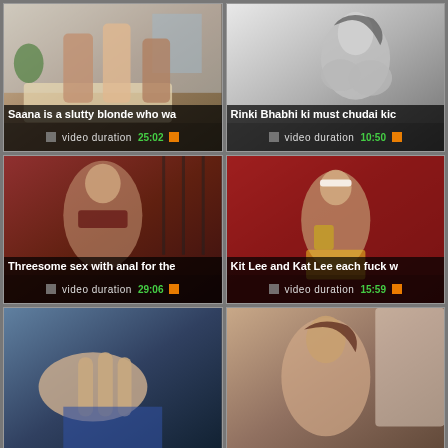[Figure (photo): Video thumbnail 1: Saana is a slutty blonde who wa... - video duration 25:02]
[Figure (photo): Video thumbnail 2: Rinki Bhabhi ki must chudai kic... - video duration 10:50]
[Figure (photo): Video thumbnail 3: Threesome sex with anal for the... - video duration 29:06]
[Figure (photo): Video thumbnail 4: Kit Lee and Kat Lee each fuck w... - video duration 15:59]
[Figure (photo): Video thumbnail 5: partial view, bottom row left]
[Figure (photo): Video thumbnail 6: partial view, bottom row right]